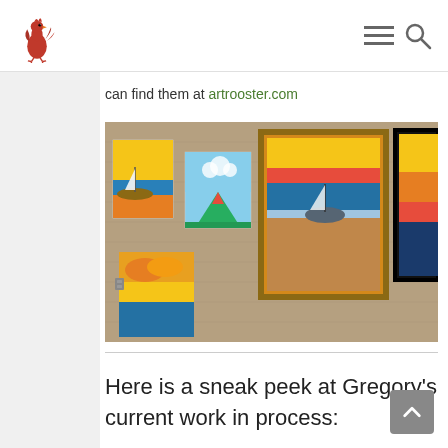Art Rooster logo, navigation menu icon, search icon
can find them at artrooster.com
[Figure (photo): Photo of several paintings hanging on a textured wall. The paintings feature tropical and nautical themes with bright yellows, oranges, blues and greens — boats on beaches, a volcano, sunsets over water.]
Here is a sneak peek at Gregory’s current work in process: